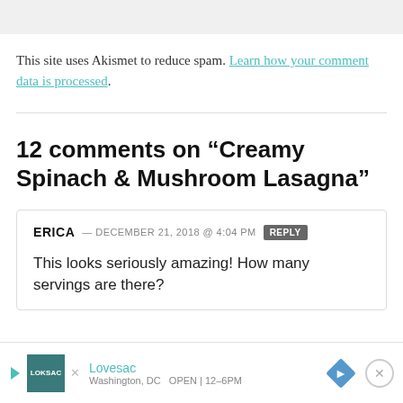This site uses Akismet to reduce spam. Learn how your comment data is processed.
12 comments on “Creamy Spinach & Mushroom Lasagna”
ERICA — DECEMBER 21, 2018 @ 4:04 PM  REPLY
This looks seriously amazing! How many servings are there?